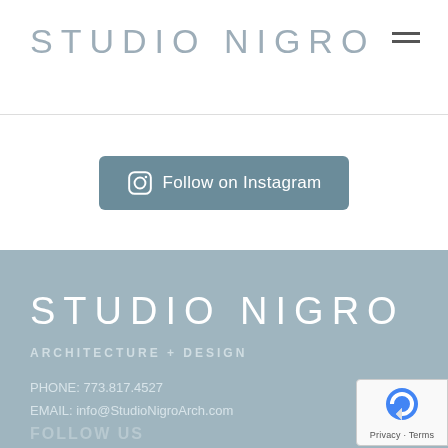STUDIO NIGRO
Follow on Instagram
[Figure (logo): Studio Nigro logo in footer with tagline ARCHITECTURE + DESIGN]
PHONE: 773.817.4527
EMAIL: info@StudioNigroArch.com
FOLLOW US
[Figure (other): reCAPTCHA badge with Privacy and Terms links]